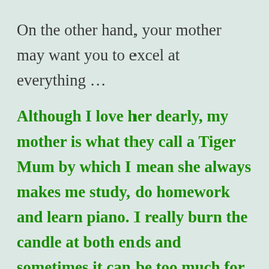On the other hand, your mother may want you to excel at everything …
Although I love her dearly, my mother is what they call a Tiger Mum by which I mean she always makes me study, do homework and learn piano. I really burn the candle at both ends and sometimes it can be too much for me.